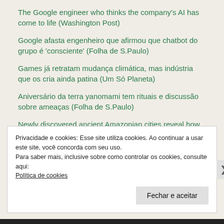The Google engineer who thinks the company's AI has come to life (Washington Post)
Google afasta engenheiro que afirmou que chatbot do grupo é 'consciente' (Folha de S.Paulo)
Games já retratam mudança climática, mas indústria que os cria ainda patina (Um Só Planeta)
Aniversário da terra yanomami tem rituais e discussão sobre ameaças (Folha de S.Paulo)
Newly discovered ancient Amazonian cities reveal how urban landscapes were built without harming nature (Science Alert)
Defensor da causa Ianomâmi, Davi Kopenawa receberá título de doutor honoris causa da Unifesp (O Globo)
Privacidade e cookies: Esse site utiliza cookies. Ao continuar a usar este site, você concorda com seu uso.
Para saber mais, inclusive sobre como controlar os cookies, consulte aqui:
Política de cookies
Fechar e aceitar